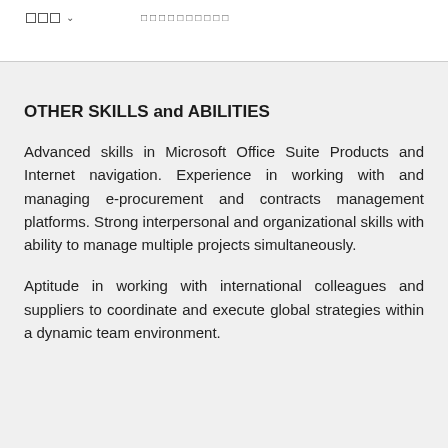□□□ ∨   □□□□□□□□□□
OTHER SKILLS and ABILITIES
Advanced skills in Microsoft Office Suite Products and Internet navigation. Experience in working with and managing e-procurement and contracts management platforms. Strong interpersonal and organizational skills with ability to manage multiple projects simultaneously.
Aptitude in working with international colleagues and suppliers to coordinate and execute global strategies within a dynamic team environment.